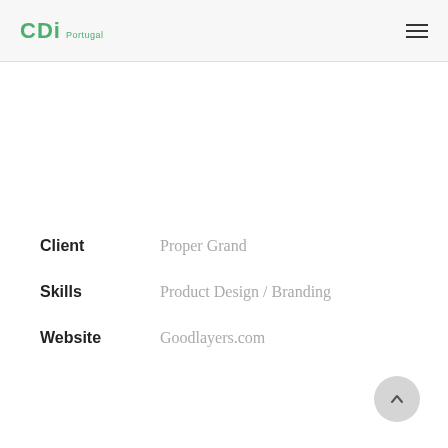CDi Portugal
Client   Proper Grand
Skills   Product Design / Branding
Website   Goodlayers.com